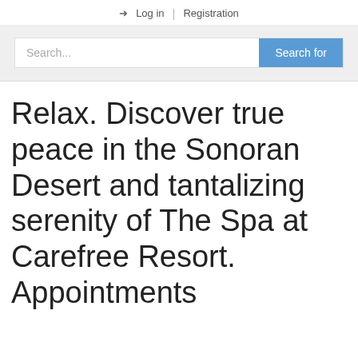➜ Log in  |  Registration
[Figure (screenshot): Search bar with placeholder text 'Search...' and a blue 'Search for' button on a light gray background]
Relax. Discover true peace in the Sonoran Desert and tantalizing serenity of The Spa at Carefree Resort. Appointments